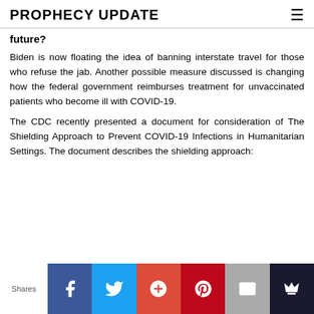PROPHECY UPDATE
future?
Biden is now floating the idea of banning interstate travel for those who refuse the jab. Another possible measure discussed is changing how the federal government reimburses treatment for unvaccinated patients who become ill with COVID-19.
The CDC recently presented a document for consideration of The Shielding Approach to Prevent COVID-19 Infections in Humanitarian Settings. The document describes the shielding approach:
[Figure (infographic): Social sharing buttons row: Facebook, Twitter, Google+, Pinterest, Email, Crown icon. Label 'Shares' on left.]